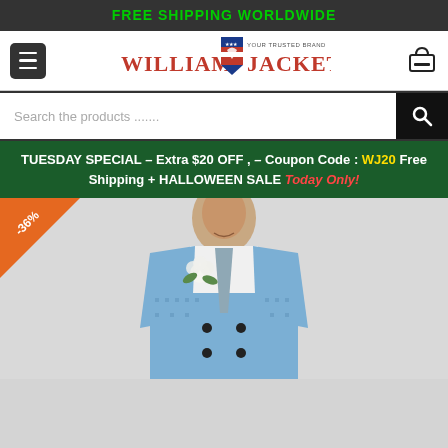FREE SHIPPING WORLDWIDE
[Figure (logo): William Jacket logo with shield emblem and text 'YOUR TRUSTED BRAND']
Search the products .......
TUESDAY SPECIAL - Extra $20 OFF , - Coupon Code : WJ20 Free Shipping + HALLOWEEN SALE Today Only!
[Figure (photo): Man wearing a light blue houndstooth double-breasted blazer with a white rose boutonniere and blue tie, with a -36% discount badge in the top left corner]